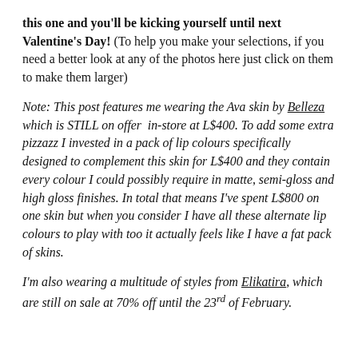this one and you'll be kicking yourself until next Valentine's Day! (To help you make your selections, if you need a better look at any of the photos here just click on them to make them larger)
Note: This post features me wearing the Ava skin by Belleza which is STILL on offer in-store at L$400. To add some extra pizzazz I invested in a pack of lip colours specifically designed to complement this skin for L$400 and they contain every colour I could possibly require in matte, semi-gloss and high gloss finishes. In total that means I've spent L$800 on one skin but when you consider I have all these alternate lip colours to play with too it actually feels like I have a fat pack of skins.
I'm also wearing a multitude of styles from Elikatira, which are still on sale at 70% off until the 23rd of February.